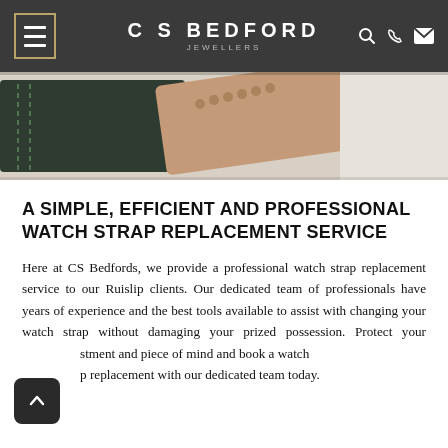C S BEDFORD JEWELLERS
[Figure (photo): Close-up photo of watch straps — a dark green/black leather strap with stitching on the left and a tan/nude leather strap on the right, on a light background.]
A SIMPLE, EFFICIENT AND PROFESSIONAL WATCH STRAP REPLACEMENT SERVICE
Here at CS Bedfords, we provide a professional watch strap replacement service to our Ruislip clients. Our dedicated team of professionals have years of experience and the best tools available to assist with changing your watch strap without damaging your prized possession. Protect your investment and piece of mind and book a watch strap replacement with our dedicated team today.